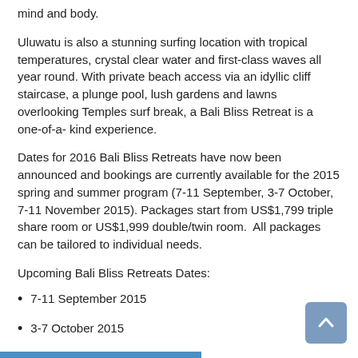mind and body.
Uluwatu is also a stunning surfing location with tropical temperatures, crystal clear water and first-class waves all year round. With private beach access via an idyllic cliff staircase, a plunge pool, lush gardens and lawns overlooking Temples surf break, a Bali Bliss Retreat is a one-of-a- kind experience.
Dates for 2016 Bali Bliss Retreats have now been announced and bookings are currently available for the 2015 spring and summer program (7-11 September, 3-7 October, 7-11 November 2015). Packages start from US$1,799 triple share room or US$1,999 double/twin room.  All packages can be tailored to individual needs.
Upcoming Bali Bliss Retreats Dates:
7-11 September 2015
3-7 October 2015
7-11 November 2015